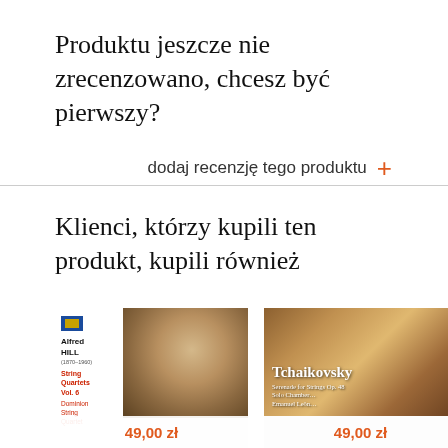Produktu jeszcze nie zrecenzowano, chcesz być pierwszy?
dodaj recenzję tego produktu +
Klienci, którzy kupili ten produkt, kupili również
[Figure (photo): Product card for Alfred Hill String Quartets Vol. 6 by Dominion String Quartet, priced at 49,00 zł]
[Figure (photo): Product card for Tchaikovsky Serenade for Strings Op. 48, priced at 49,00 zł]